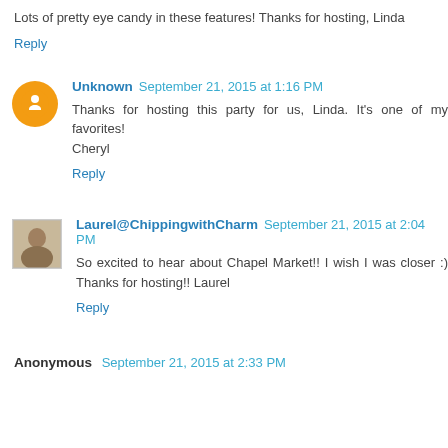Lots of pretty eye candy in these features! Thanks for hosting, Linda
Reply
Unknown  September 21, 2015 at 1:16 PM
Thanks for hosting this party for us, Linda. It's one of my favorites!
Cheryl
Reply
Laurel@ChippingwithCharm  September 21, 2015 at 2:04 PM
So excited to hear about Chapel Market!! I wish I was closer :) Thanks for hosting!! Laurel
Reply
Anonymous  September 21, 2015 at 2:33 PM